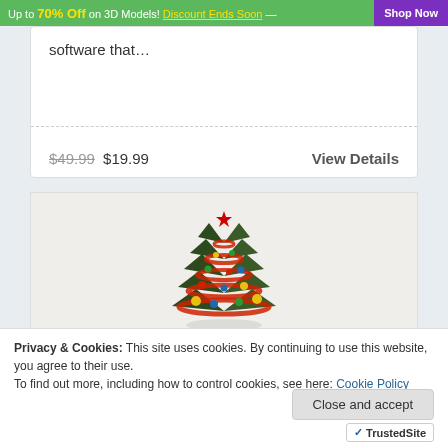Up to 70% Off on 3D Models! Discount Ends Soon — Shop Now
software that…
$49.99  $19.99
View Details
[Figure (photo): 3D rendered Christmas tree with red ribbon garlands, colorful ornament balls, and a red star on top, displayed on a light beige background]
Privacy & Cookies: This site uses cookies. By continuing to use this website, you agree to their use.
To find out more, including how to control cookies, see here: Cookie Policy
Close and accept
TrustedSite